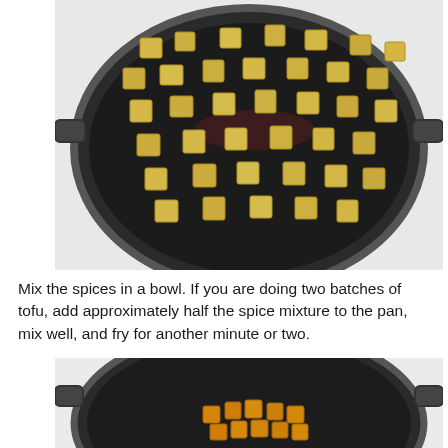[Figure (photo): A dark non-stick frying pan filled with cubed tofu pieces, light yellow/golden color, spread out in a single layer, viewed from above on a white stovetop.]
Mix the spices in a bowl. If you are doing two batches of tofu, add approximately half the spice mixture to the pan, mix well, and fry for another minute or two.
[Figure (photo): A dark non-stick frying pan with smaller, more golden-orange spiced tofu cubes clustered in the center, viewed from above, partially cropped at bottom of page.]